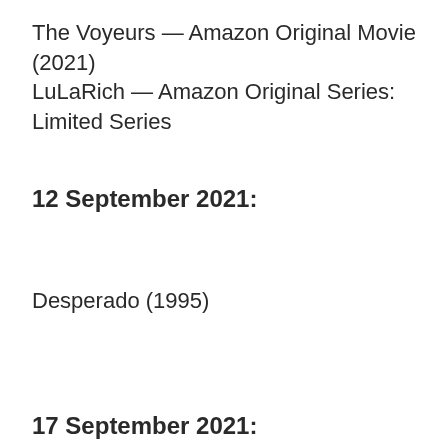The Voyeurs — Amazon Original Movie (2021)
LuLaRich — Amazon Original Series: Limited Series
12 September 2021:
Desperado (1995)
17 September 2021:
Everybody's Talking About Jamie